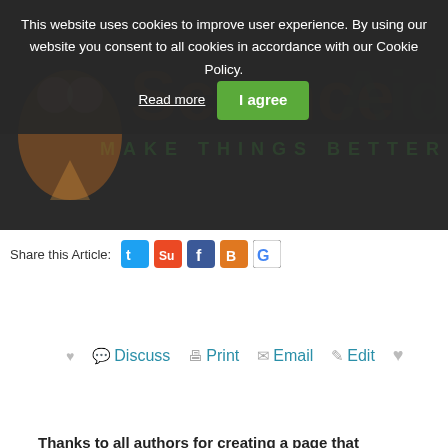This website uses cookies to improve user experience. By using our website you consent to all cookies in accordance with our Cookie Policy. Read more | I agree
Share this Article:
Discuss   Print   Email   Edit
Thanks to all authors for creating a page that
[Figure (logo): ScienceAid logo with orange 'Science' and green 'Aid' text, tagline MAKE THINGS BETTER]
Home
About ScienceAid
Explore Cate